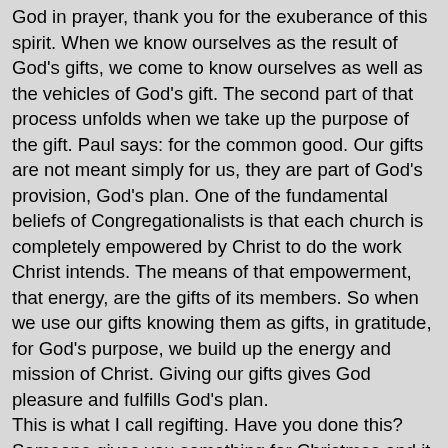God in prayer, thank you for the exuberance of this spirit. When we know ourselves as the result of God's gifts, we come to know ourselves as well as the vehicles of God's gift. The second part of that process unfolds when we take up the purpose of the gift. Paul says: for the common good. Our gifts are not meant simply for us, they are part of God's provision, God's plan. One of the fundamental beliefs of Congregationalists is that each church is completely empowered by Christ to do the work Christ intends. The means of that empowerment, that energy, are the gifts of its members. So when we use our gifts knowing them as gifts, in gratitude, for God's purpose, we build up the energy and mission of Christ. Giving our gifts gives God pleasure and fulfills God's plan.
This is what I call regifting. Have you done this? Someone gives you something for Christmas and it doesn't fit, it doesn't work for you, you don't need it or want it. But you know someone who might like it. So you wrap it up, you give the gift to them. I used to go to a party after Christmas every year where people brought something to regift. What Paul seems to be saying is that your gift is meant to be regifted, that is shared, with the larger world, and in particular the whole church. That's why you were given the gift; that's it's purpose and when gifts are regifted, they expand, they grow.